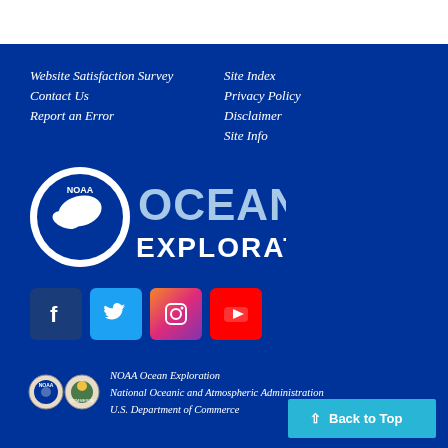Website Satisfaction Survey
Contact Us
Report an Error
Site Index
Privacy Policy
Disclaimer
Site Info
[Figure (logo): NOAA Ocean Exploration logo with NOAA bird emblem and text 'OCEAN EXPLORATION']
[Figure (logo): Social media icons: Facebook, Twitter, Instagram, YouTube]
[Figure (logo): NOAA seal and Department of Commerce seal]
NOAA Ocean Exploration
National Oceanic and Atmospheric Administration
U.S. Department of Commerce
Back to Top